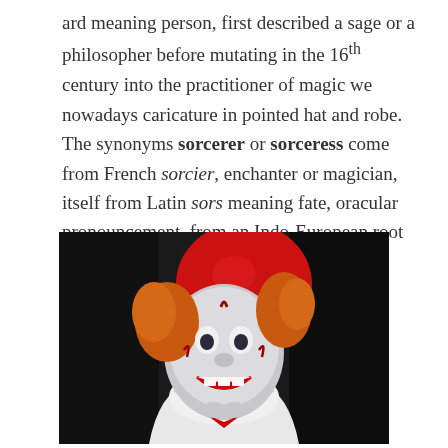ard meaning person, first described a sage or a philosopher before mutating in the 16th century into the practitioner of magic we nowadays caricature in pointed hat and robe. The synonyms sorcerer or sorceress come from French sorcier, enchanter or magician, itself from Latin sors meaning fate, oracular pronouncement, from an Indo-European root denoting binding and sorting.
[Figure (photo): A person dressed as Pennywise the clown from the movie IT, wearing white face makeup with red markings, orange curly hair, a white ruffled costume, holding a red balloon on a string against a dark background.]